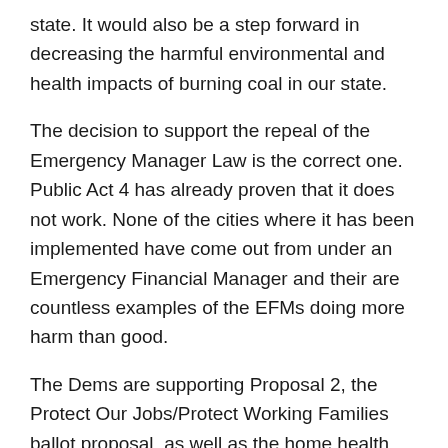state. It would also be a step forward in decreasing the harmful environmental and health impacts of burning coal in our state.
The decision to support the repeal of the Emergency Manager Law is the correct one. Public Act 4 has already proven that it does not work. None of the cities where it has been implemented have come out from under an Emergency Financial Manager and their are countless examples of the EFMs doing more harm than good.
The Dems are supporting Proposal 2, the Protect Our Jobs/Protect Working Families ballot proposal, as well as the home health care proposal (Proposal 4.) They declined to take a position on the bridge and casino proposals, however.